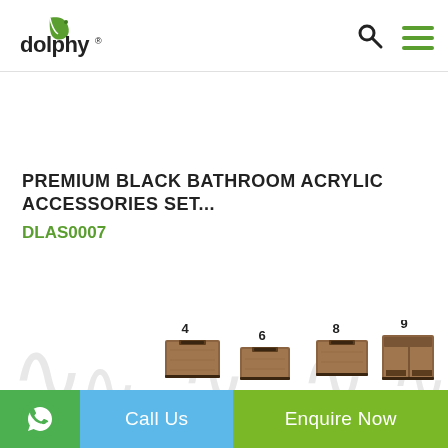Dolphy logo, search icon, hamburger menu
PREMIUM BLACK BATHROOM ACRYLIC ACCESSORIES SET...
DLAS0007
[Figure (photo): Product image showing wooden bathroom accessory boxes numbered 4, 6, 8, 9 on a decorative background]
Call Us | Enquire Now